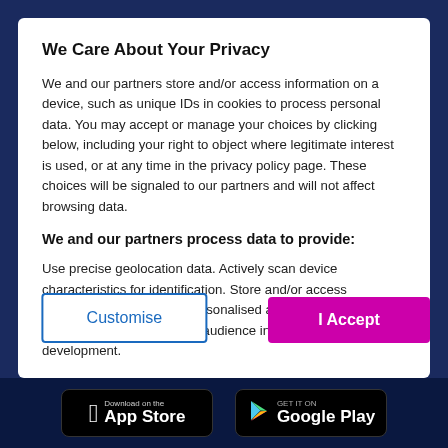We Care About Your Privacy
We and our partners store and/or access information on a device, such as unique IDs in cookies to process personal data. You may accept or manage your choices by clicking below, including your right to object where legitimate interest is used, or at any time in the privacy policy page. These choices will be signaled to our partners and will not affect browsing data.
We and our partners process data to provide:
Use precise geolocation data. Actively scan device characteristics for identification. Store and/or access information on a device. Personalised ads and content, ad and content measurement, audience insights and product development.
List of Partners (Vendors)
Customise
I Accept
[Figure (screenshot): App store download badges: Apple App Store and Google Play Store]
Download on the App Store
GET IT ON Google Play